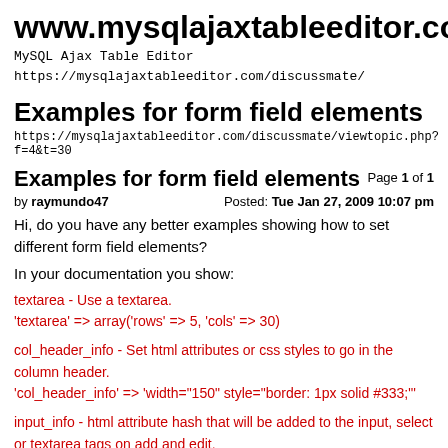www.mysqlajaxtableeditor.com
MySQL Ajax Table Editor
https://mysqlajaxtableeditor.com/discussmate/
Examples for form field elements
https://mysqlajaxtableeditor.com/discussmate/viewtopic.php?f=4&t=30
Examples for form field elements
Page 1 of 1
by raymundo47
Posted: Tue Jan 27, 2009 10:07 pm
Hi, do you have any better examples showing how to set different form field elements?
In your documentation you show:
textarea - Use a textarea.
'textarea' => array('rows' => 5, 'cols' => 30)
col_header_info - Set html attributes or css styles to go in the column header.
'col_header_info' => 'width="150" style="border: 1px solid #333;"'
input_info - html attribute hash that will be added to the input, select or textarea tags on add and edit.